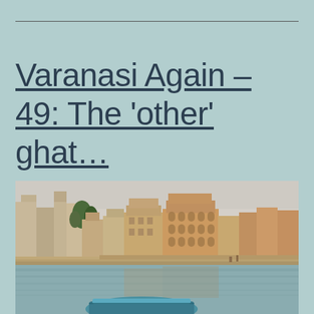Varanasi Again – 49: The 'other' ghat…
[Figure (photo): Panoramic view of Varanasi ghats from the Ganges river. Ancient multi-storey buildings and temples line the riverfront, reflected in the calm water. A blue boat is visible in the foreground.]